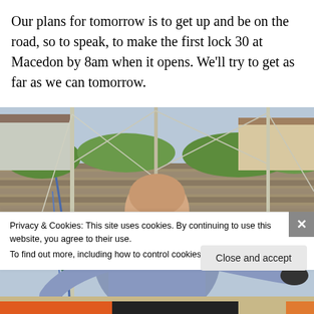Our plans for tomorrow is to get up and be on the road, so to speak, to make the first lock 30 at Macedon by 8am when it opens. We'll try to get as far as we can tomorrow.
[Figure (photo): A bald man wearing sunglasses and a light blue striped shirt sitting on a sailboat at a marina, smiling at the camera. Masts, rigging, ropes, and a stone wall with greenery visible in the background.]
Privacy & Cookies: This site uses cookies. By continuing to use this website, you agree to their use.
To find out more, including how to control cookies, see here: Cookie Policy